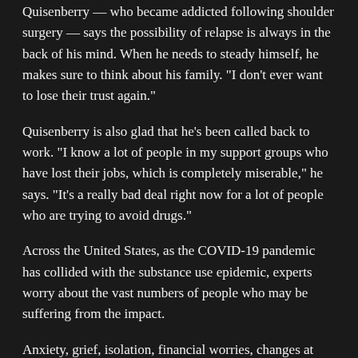Quisenberry — who became addicted following shoulder surgery — says the possibility of relapse is always in the back of his mind. When he needs to steady himself, he makes sure to think about his family. "I don't ever want to lose their trust again."
Quisenberry is also glad that he's been called back to work. "I know a lot of people in my support groups who have lost their jobs, which is completely miserable," he says. "It's a really bad deal right now for a lot of people who are trying to avoid drugs."
Across the United States, as the COVID-19 pandemic has collided with the substance use epidemic, experts worry about the vast numbers of people who may be suffering from the impact.
Anxiety, grief, isolation, financial worries, changes at home